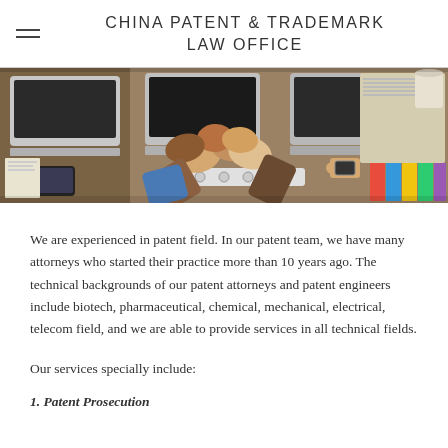CHINA PATENT & TRADEMARK LAW OFFICE
[Figure (photo): Overhead view of people doing a fist bump over a desk with laptops, phones, notebooks and office supplies]
We are experienced in patent field. In our patent team, we have many attorneys who started their practice more than 10 years ago. The technical backgrounds of our patent attorneys and patent engineers include biotech, pharmaceutical, chemical, mechanical, electrical, telecom field, and we are able to provide services in all technical fields.
Our services specially include:
1. Patent Prosecution